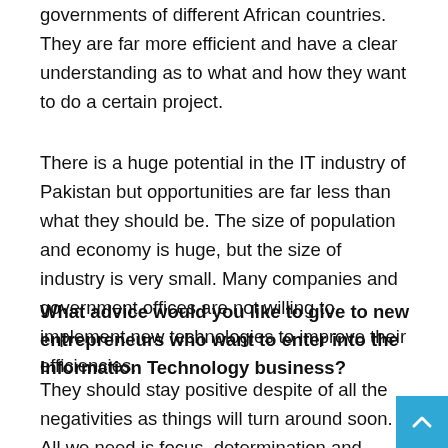governments of different African countries. They are far more efficient and have a clear understanding as to what and how they want to do a certain project.
There is a huge potential in the IT industry of Pakistan but opportunities are far less than what they should be. The size of population and economy is huge, but the size of industry is very small. Many companies and government offices are not willing to implement new technologies to improve their efficiencies.
What advice would you like to give to new entrepreneurs who want to enter into the Information Technology business?
They should stay positive despite of all the negativities as things will turn around soon. All we need is focus, determination and research work. Always think creatively and do your home work.